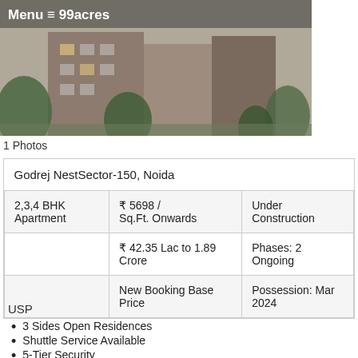[Figure (photo): Exterior photo of Godrej Nest apartment building with greenery, with Menu and 99acres branding overlay]
1 Photos
| Godrej NestSector-150, Noida |  |  |
| 2,3,4 BHK Apartment | ₹ 5698 / Sq.Ft. Onwards | Under Construction |
|  | ₹ 42.35 Lac to 1.89 Crore | Phases: 2 Ongoing |
|  | New Booking Base Price | Possession: Mar 2024 |
USP
3 Sides Open Residences
Shuttle Service Available
5-Tier Security